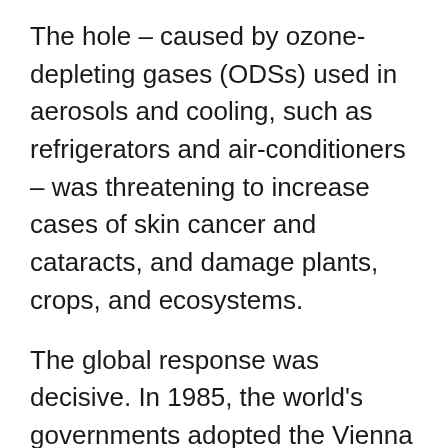The hole – caused by ozone-depleting gases (ODSs) used in aerosols and cooling, such as refrigerators and air-conditioners – was threatening to increase cases of skin cancer and cataracts, and damage plants, crops, and ecosystems.
The global response was decisive. In 1985, the world's governments adopted the Vienna Convention for the Protection of the Ozone Layer. Under the Convention's Montreal Protocol, governments, scientists and industry worked together to cut out 99 per cent of all ozone-depleting substances. Thanks to the Montreal Protocol, the ozone layer is healing